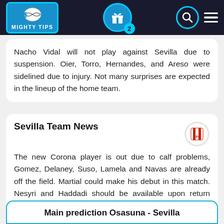MIGHTY TIPS
Nacho Vidal will not play against Sevilla due to suspension. Oier, Torro, Hernandes, and Areso were sidelined due to injury. Not many surprises are expected in the lineup of the home team.
Sevilla Team News
The new Corona player is out due to calf problems, Gomez, Delaney, Suso, Lamela and Navas are already off the field. Martial could make his debut in this match. Nesyri and Haddadi should be available upon return from ACON.
Main prediction Osasuna - Sevilla